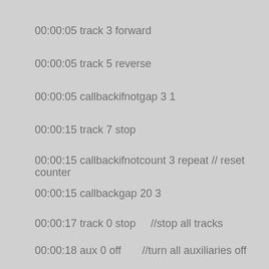00:00:05 track 3 forward
00:00:05 track 5 reverse
00:00:05 callbackifnotgap 3 1
00:00:15 track 7 stop
00:00:15 callbackifnotcount 3 repeat // reset counter
00:00:15 callbackgap 20 3
00:00:17 track 0 stop    //stop all tracks
00:00:18 aux 0 off       //turn all auxiliaries off
00:00:18 callback 20 ignore